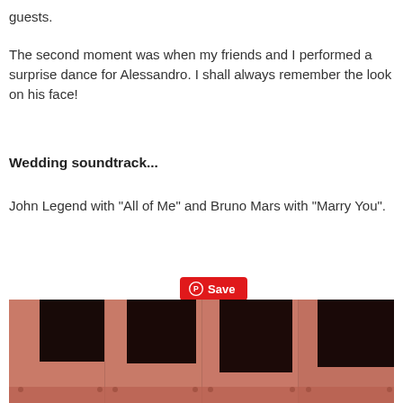guests.
The second moment was when my friends and I performed a surprise dance for Alessandro. I shall always remember the look on his face!
Wedding soundtrack...
John Legend with “All of Me” and Bruno Mars with “Marry You”.
[Figure (photo): A photo showing a terracotta/salmon colored wall or fabric backdrop with dark window-like panels or openings arranged horizontally. The bottom shows a darker strip. Rivets or fasteners are visible at the lower corners of each panel.]